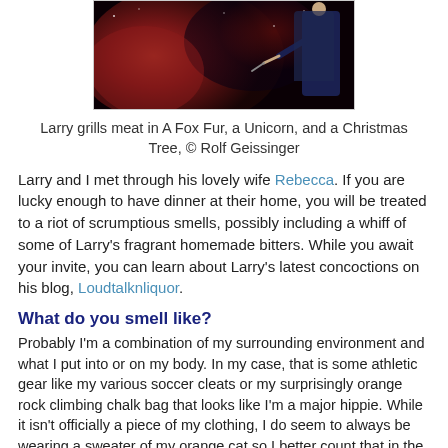[Figure (photo): Larry grills meat, a scene from 'A Fox Fur, a Unicorn, and a Christmas Tree', red nebula-like background with a person in dark clothing on the right side]
Larry grills meat in A Fox Fur, a Unicorn, and a Christmas Tree, © Rolf Geissinger
Larry and I met through his lovely wife Rebecca. If you are lucky enough to have dinner at their home, you will be treated to a riot of scrumptious smells, possibly including a whiff of some of Larry's fragrant homemade bitters. While you await your invite, you can learn about Larry's latest concoctions on his blog, Loudtalknliquor.
What do you smell like?
Probably I'm a combination of my surrounding environment and what I put into or on my body. In my case, that is some athletic gear like my various soccer cleats or my surprisingly orange rock climbing chalk bag that looks like I'm a major hippie. While it isn't officially a piece of my clothing, I do seem to always be wearing a sweater of my orange cat so I better count that in the mix. When not running or playing soccer or climbing, I'm often lazing around on my leather couch playing video games or watching soccer so I'm guessing that has worn off on me. I like to consume all